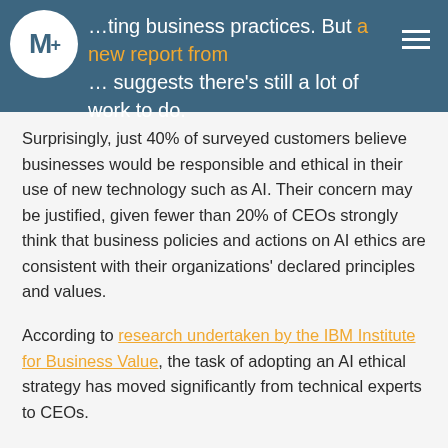…ting business practices. But a new report from … suggests there's still a lot of work to do.
Surprisingly, just 40% of surveyed customers believe businesses would be responsible and ethical in their use of new technology such as AI. Their concern may be justified, given fewer than 20% of CEOs strongly think that business policies and actions on AI ethics are consistent with their organizations' declared principles and values.
According to research undertaken by the IBM Institute for Business Value, the task of adopting an AI ethical strategy has moved significantly from technical experts to CEOs.
AI is increasingly recognized as a cross-industry, multi-stakeholder project. It is more than just an IT issue. HR, procurement, and legal are all on board as well. AI has developed to be business-led, requiring the most senior levels to manage its appropriate management.